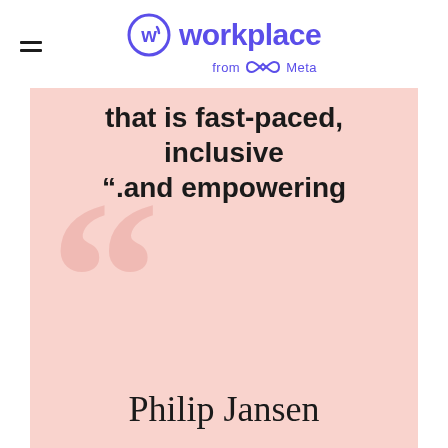workplace from Meta
that is fast-paced, inclusive
“.and empowering
Philip Jansen